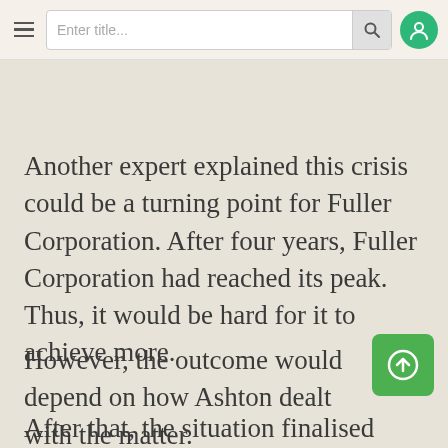Navigation bar with hamburger menu, search input, and user icon
Another expert explained this crisis could be a turning point for Fuller Corporation. After four years, Fuller Corporation had reached its peak. Thus, it would be hard for it to achieve more.
However, the outcome would depend on how Ashton dealt with the matter.
After that, the situation finalised with the matter